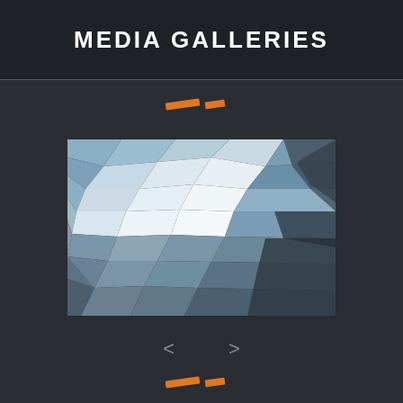MEDIA GALLERIES
[Figure (illustration): Orange decorative dash elements at top]
[Figure (photo): Low-poly geometric abstract image showing faceted polygonal shapes in blues, grays, and off-whites resembling an aerial or abstract landscape]
< >
[Figure (illustration): Orange decorative dash elements at bottom]